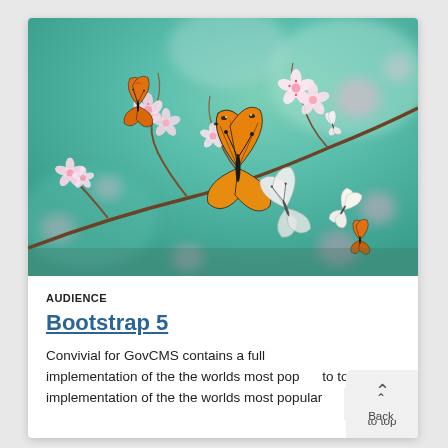[Figure (photo): A photo of colorful butterflies flying around cherry blossom flowers against a blurred teal/green background. Multiple orange, black, and white butterflies are visible among pink and white blossoms.]
AUDIENCE
Bootstrap 5
Convivial for GovCMS contains a full implementation of the the worlds most popular theme framework, Bootstrap 5...